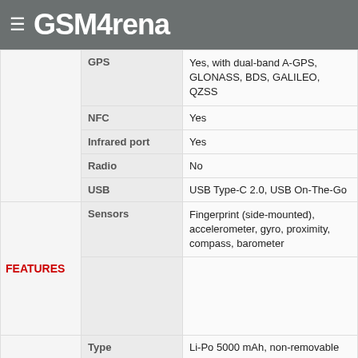GSMArena
| Category | Feature | Value |
| --- | --- | --- |
|  | GPS | Yes, with dual-band A-GPS, GLONASS, BDS, GALILEO, QZSS |
|  | NFC | Yes |
|  | Infrared port | Yes |
|  | Radio | No |
|  | USB | USB Type-C 2.0, USB On-The-Go |
| FEATURES | Sensors | Fingerprint (side-mounted), accelerometer, gyro, proximity, compass, barometer |
|  |  |  |
| BATTERY | Type | Li-Po 5000 mAh, non-removable |
| BATTERY | Charging | Fast charging 33W |
|  |  | Power Delivery 3.0 |